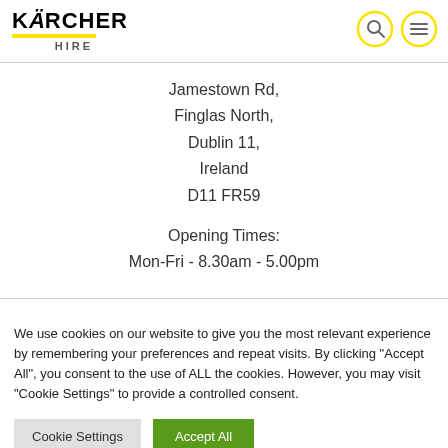KÄRCHER HIRE
Jamestown Rd,
Finglas North,
Dublin 11,
Ireland
D11 FR59

Opening Times:
Mon-Fri - 8.30am - 5.00pm
We use cookies on our website to give you the most relevant experience by remembering your preferences and repeat visits. By clicking "Accept All", you consent to the use of ALL the cookies. However, you may visit "Cookie Settings" to provide a controlled consent.